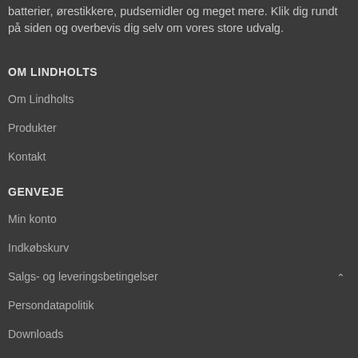batterier, ørestikkere, pudsemidler og meget mere. Klik dig rundt på siden og overbevis dig selv om vores store udvalg.
OM LINDHOLTS
Om Lindholts
Produkter
Kontakt
GENVEJE
Min konto
Indkøbskurv
Salgs- og leveringsbetingelser
Persondatapolitik
Downloads